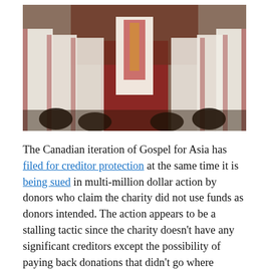[Figure (photo): A religious ceremony with clergy in ornate white and red vestments standing and kneeling in a church setting.]
The Canadian iteration of Gospel for Asia has filed for creditor protection at the same time it is being sued in multi-million dollar action by donors who claim the charity did not use funds as donors intended. The action appears to be a stalling tactic since the charity doesn't have any significant creditors except the possibility of paying back donations that didn't go where donors thought they would go.
Read the affadavit filed by GFA's Pat Emerick